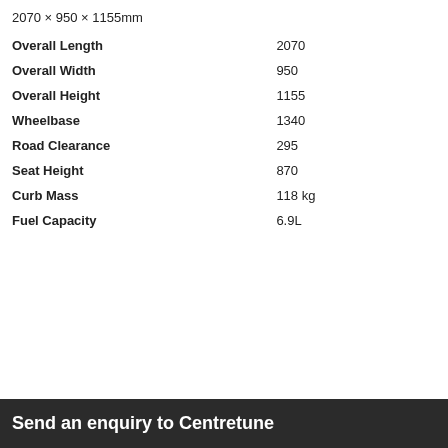2070 × 950 × 1155mm
|  |  |
| --- | --- |
| Overall Length | 2070 |
| Overall Width | 950 |
| Overall Height | 1155 |
| Wheelbase | 1340 |
| Road Clearance | 295 |
| Seat Height | 870 |
| Curb Mass | 118 kg |
| Fuel Capacity | 6.9L |
Send an enquiry to Centretune